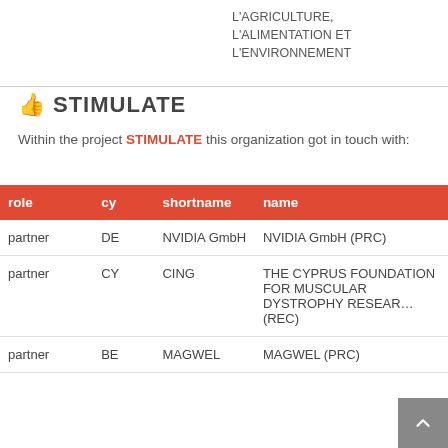L'AGRICULTURE, L'ALIMENTATION ET L'ENVIRONNEMENT
STIMULATE
Within the project STIMULATE this organization got in touch with:
| role | cy | shortname | name |
| --- | --- | --- | --- |
| partner | DE | NVIDIA GmbH | NVIDIA GmbH (PRC) |
| partner | CY | CING | THE CYPRUS FOUNDATION FOR MUSCULAR DYSTROPHY RESEARCH (REC) |
| partner | BE | MAGWEL | MAGWEL (PRC) |